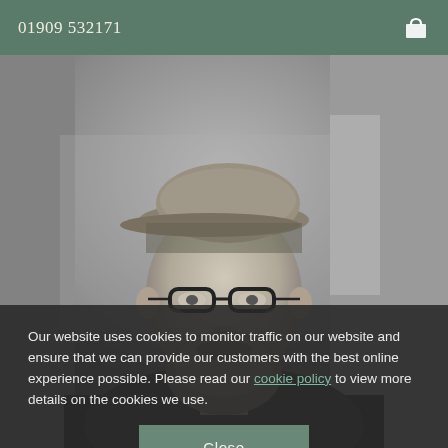01909 532171
[Figure (photo): Black and white photograph of a bearded man wearing a cap and glasses, shown from shoulders up, with a blurred background]
Our website uses cookies to monitor traffic on our website and ensure that we can provide our customers with the best online experience possible. Please read our cookie policy to view more details on the cookies we use.
Close